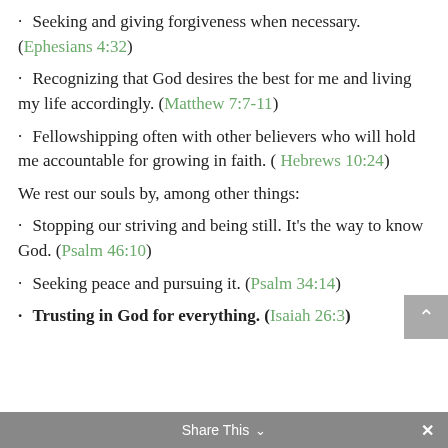Seeking and giving forgiveness when necessary. (Ephesians 4:32)
Recognizing that God desires the best for me and living my life accordingly. (Matthew 7:7-11)
Fellowshipping often with other believers who will hold me accountable for growing in faith. ( Hebrews 10:24)
We rest our souls by, among other things:
Stopping our striving and being still. It’s the way to know God. (Psalm 46:10)
Seeking peace and pursuing it. (Psalm 34:14)
Trusting in God for everything. (Isaiah 26:3)
Share This ⌃ ×